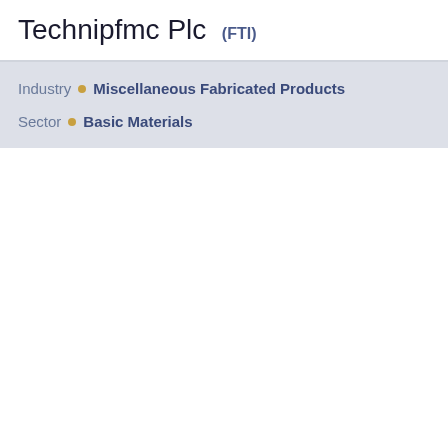Technipfmc Plc (FTI)
Industry • Miscellaneous Fabricated Products
Sector • Basic Materials